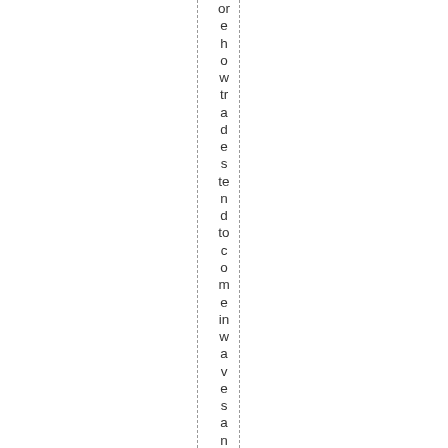or e h o w tr a d e s te n d to c o m e in w a v e s a n d th is gr